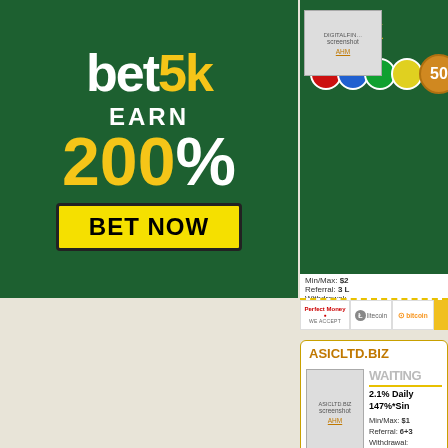[Figure (screenshot): bet5k advertisement banner: dark green background, 'bet5k' title in white with '5k' in yellow, 'EARN 200%' in white and yellow, 'BET NOW' yellow button with black border]
[Figure (screenshot): Partial bet5k advertisement on right side with coins graphic showing '50']
[Figure (screenshot): Partial card for DIGITALFIN with AHM link, Min/Max, Referral 3L, Withdrawal info, payment badges: Perfect Money, Litecoin, Bitcoin]
ASICLTD.BIZ
[Figure (screenshot): ASICLTD.BIZ screenshot thumbnail with AHM link]
WAITING
2.1% Daily 147%*Sin
Min/Max: $1 Referral: 6+3 Withdrawal:
[Figure (screenshot): Payment badges: Perfect Money, Litecoin, Bitcoin, and gold badge]
DINOPOLIS.BIZ